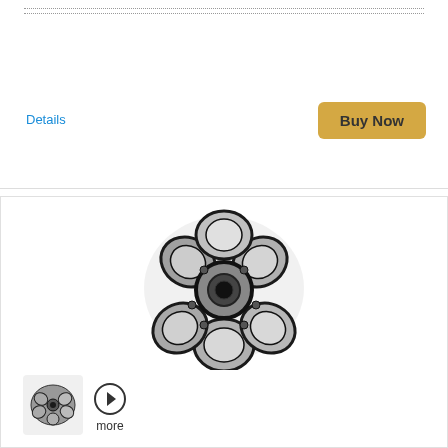Details
Buy Now
[Figure (photo): Flower-shaped sterling silver bead cap with circular petal details and oxidized black finish, center hole visible]
[Figure (photo): Small thumbnail of the same flower-shaped sterling silver bead cap]
more
0.9GRAM STERLING SILVER BEADS